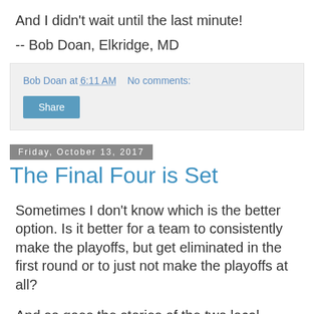And I didn't wait until the last minute!
-- Bob Doan, Elkridge, MD
Bob Doan at 6:11 AM   No comments:
Share
Friday, October 13, 2017
The Final Four is Set
Sometimes I don't know which is the better option. Is it better for a team to consistently make the playoffs, but get eliminated in the first round or to just not make the playoffs at all?
And so goes the stories of the two local baseball teams: the Nationals and the Orioles.